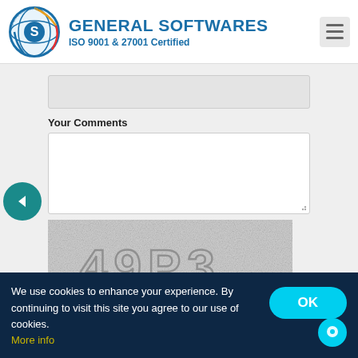[Figure (logo): General Softwares circular logo with S letter and globe design]
GENERAL SOFTWARES
ISO 9001 & 27001 Certified
Your Comments
[Figure (screenshot): CAPTCHA image showing characters 49P3 on noisy background]
We use cookies to enhance your experience. By continuing to visit this site you agree to our use of cookies. More info